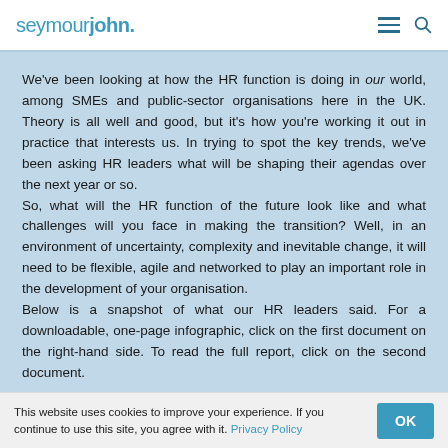seymourjohn.
We've been looking at how the HR function is doing in our world, among SMEs and public-sector organisations here in the UK. Theory is all well and good, but it's how you're working it out in practice that interests us. In trying to spot the key trends, we've been asking HR leaders what will be shaping their agendas over the next year or so.
So, what will the HR function of the future look like and what challenges will you face in making the transition? Well, in an environment of uncertainty, complexity and inevitable change, it will need to be flexible, agile and networked to play an important role in the development of your organisation.
Below is a snapshot of what our HR leaders said. For a downloadable, one-page infographic, click on the first document on the right-hand side. To read the full report, click on the second document.
This website uses cookies to improve your experience. If you continue to use this site, you agree with it. Privacy Policy  OK